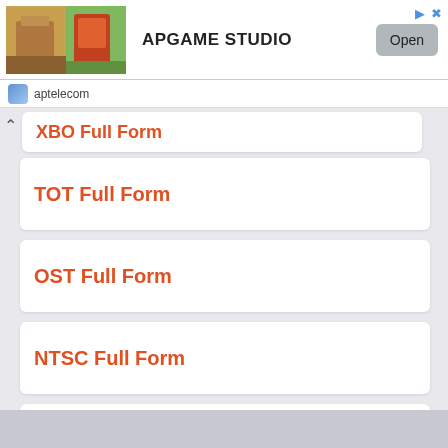[Figure (screenshot): Advertisement banner for APGAME STUDIO with game screenshot image, Open button, and close/share icons]
aptelecom
XBO Full Form
TOT Full Form
OST Full Form
NTSC Full Form
CEO Full Form